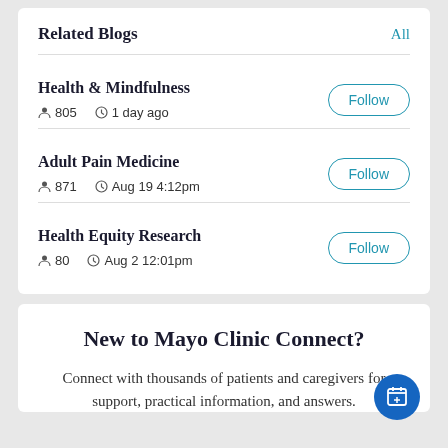Related Blogs
Health & Mindfulness — 805 followers, 1 day ago
Adult Pain Medicine — 871 followers, Aug 19 4:12pm
Health Equity Research — 80 followers, Aug 2 12:01pm
New to Mayo Clinic Connect?
Connect with thousands of patients and caregivers for support, practical information, and answers.